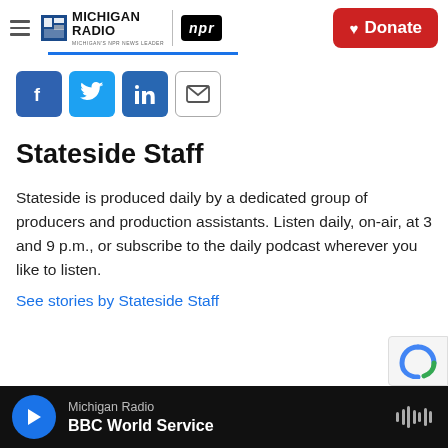Michigan Radio | NPR | Donate
[Figure (logo): Michigan Radio NPR logo with hamburger menu and Donate button]
[Figure (infographic): Social sharing buttons: Facebook, Twitter, LinkedIn, Email]
Stateside Staff
Stateside is produced daily by a dedicated group of producers and production assistants. Listen daily, on-air, at 3 and 9 p.m., or subscribe to the daily podcast wherever you like to listen.
See stories by Stateside Staff
Michigan Radio — BBC World Service (player bar)